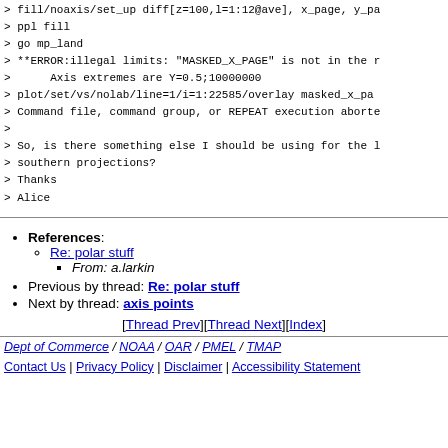> fill/noaxis/set_up diff[z=100,l=1:12@ave], x_page, y_pa
> ppl fill
> go mp_land
> **ERROR:illegal limits: "MASKED_X_PAGE" is not in the r
>       Axis extremes are Y=0.5;10000000
> plot/set/vs/nolab/line=1/i=1:22585/overlay masked_x_pa
> Command file, command group, or REPEAT execution aborte
>
> So, is there something else I should be using for the l
> southern projections?
> Thanks
> Alice
References:
Re: polar stuff
From: a.larkin
Previous by thread: Re: polar stuff
Next by thread: axis points
[Thread Prev][Thread Next][Index]
Dept of Commerce / NOAA / OAR / PMEL / TMAP
Contact Us | Privacy Policy | Disclaimer | Accessibility Statement